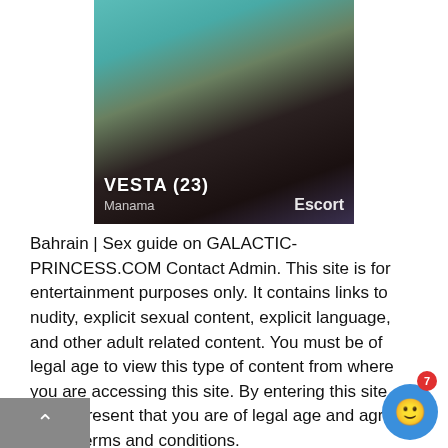[Figure (photo): Photo of a person wearing black stockings seated near a teal/turquoise chair, with overlay text showing name VESTA (23), location Manama, and category Escort]
Bahrain | Sex guide on GALACTIC-PRINCESS.COM Contact Admin. This site is for entertainment purposes only. It contains links to nudity, explicit sexual content, explicit language, and other adult related content. You must be of legal age to view this type of content from where you are accessing this site. By entering this site, you represent that you are of legal age and agree to our terms and conditions. We do not create or produce any content on this site are not associated with anyone reviewed on this site. We